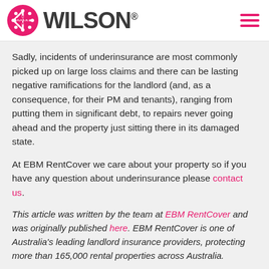Wilson logo header with hamburger menu
Sadly, incidents of underinsurance are most commonly picked up on large loss claims and there can be lasting negative ramifications for the landlord (and, as a consequence, for their PM and tenants), ranging from putting them in significant debt, to repairs never going ahead and the property just sitting there in its damaged state.
At EBM RentCover we care about your property so if you have any question about underinsurance please contact us.
This article was written by the team at EBM RentCover and was originally published here. EBM RentCover is one of Australia's leading landlord insurance providers, protecting more than 165,000 rental properties across Australia.